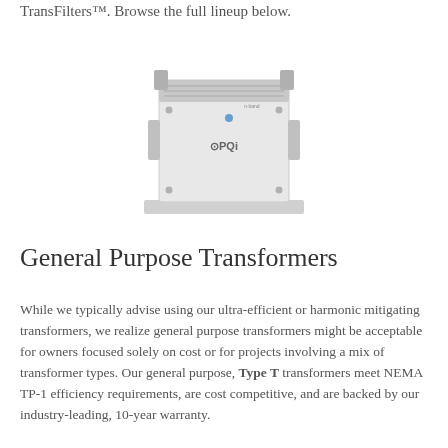TransFilters™. Browse the full lineup below.
[Figure (photo): A white industrial transformer unit with metal housing, vents at the top, and a base plate. Branded with PQi logo on the front.]
General Purpose Transformers
While we typically advise using our ultra-efficient or harmonic mitigating transformers, we realize general purpose transformers might be acceptable for owners focused solely on cost or for projects involving a mix of transformer types. Our general purpose, Type T transformers meet NEMA TP-1 efficiency requirements, are cost competitive, and are backed by our industry-leading, 10-year warranty.